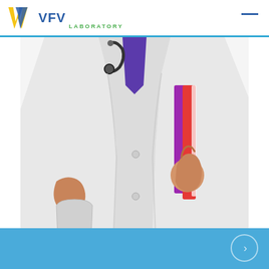VFV LABORATORY
[Figure (photo): Doctor in white lab coat holding purple and red folders/binder, with stethoscope around neck, hand in pocket. Torso/body shot on white background.]